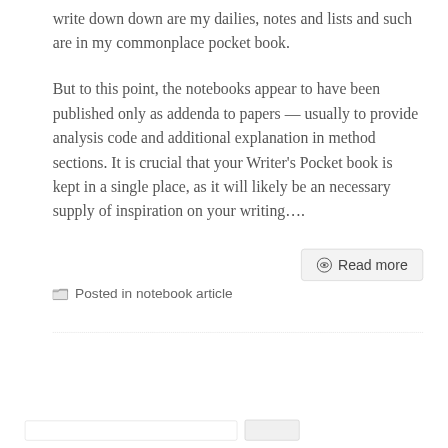write down down are my dailies, notes and lists and such are in my commonplace pocket book.
But to this point, the notebooks appear to have been published only as addenda to papers — usually to provide analysis code and additional explanation in method sections. It is crucial that your Writer's Pocket book is kept in a single place, as it will likely be an necessary supply of inspiration on your writing….
Read more
Posted in notebook article